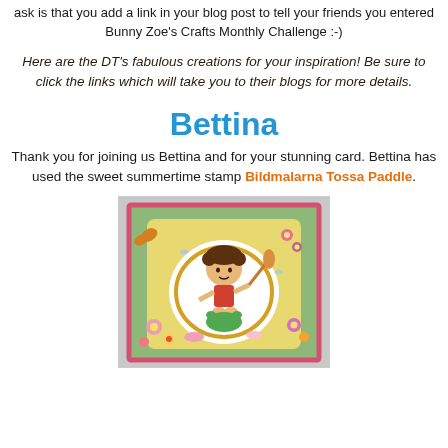ask is that you add a link in your blog post to tell your friends you entered Bunny Zoe's Crafts Monthly Challenge :-)
Here are the DT's fabulous creations for your inspiration! Be sure to click the links which will take you to their blogs for more details.
Bettina
Thank you for joining us Bettina and for your stunning card. Bettina has used the sweet summertime stamp Bildmalarna Tossa Paddle.
[Figure (photo): A handmade craft card featuring a child character holding a paddle, surrounded by colorful flowers, butterflies, and decorative elements on a green background with pink border.]